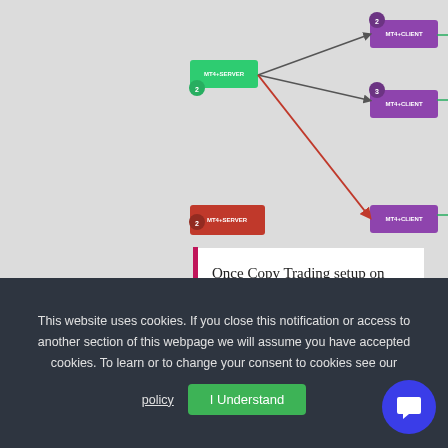[Figure (flowchart): Copy Trading VPS server setup diagram showing MT4+ client and server nodes connected with arrows, plus mobile app and laptop/MT4 platform illustrations on the right side.]
Once Copy Trading setup on VPS server you can control the trades and add new ones from MT4 Mobile app or laptop while traveling, or simply from your home or office computer.
This website uses cookies. If you close this notification or access to another section of this webpage we will assume you have accepted cookies. To learn or to change your consent to cookies see our policy
I Understand